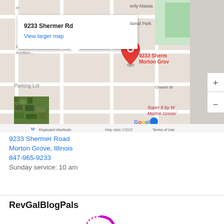[Figure (map): Google Maps screenshot showing 9233 Shermer Rd, Morton Grove area with a red location pin, info box showing '9233 Shermer Rd' and 'View larger map', street names including Church St, landmarks like Parking Lot and Super 8 by W Morton Grove, zoom controls (+/-), Google logo, and footer text 'Keyboard shortcuts  Map data ©2022  Terms of Use']
9233 Shermer Road
Morton Grove, Illinois
847-965-9233
Sunday service: 10 am
RevGalBlogPals